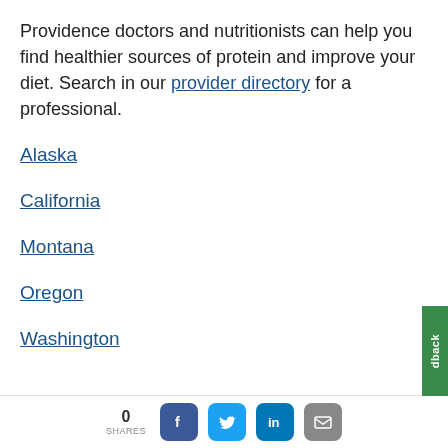Providence doctors and nutritionists can help you find healthier sources of protein and improve your diet. Search in our provider directory for a professional.
Alaska
California
Montana
Oregon
Washington
0 SHARES  [Facebook] [Twitter] [LinkedIn] [Email]